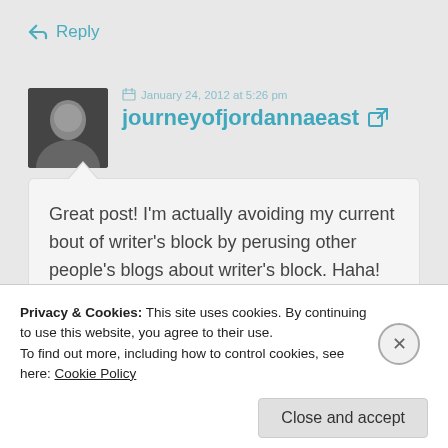← Reply
January 24, 2012 at 5:26 pm
journeyofjordannaeast
Great post! I'm actually avoiding my current bout of writer's block by perusing other people's blogs about writer's block. Haha! Good
Privacy & Cookies: This site uses cookies. By continuing to use this website, you agree to their use.
To find out more, including how to control cookies, see here: Cookie Policy
Close and accept